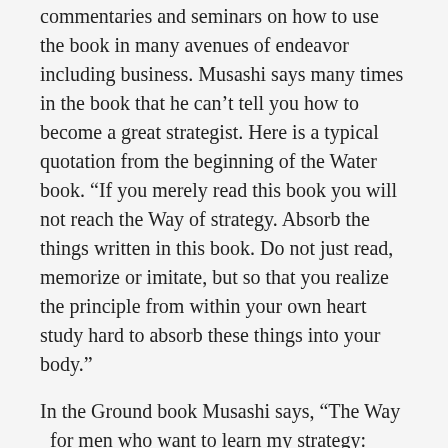commentaries and seminars on how to use the book in many avenues of endeavor including business. Musashi says many times in the book that he can't tell you how to become a great strategist. Here is a typical quotation from the beginning of the Water book. “If you merely read this book you will not reach the Way of strategy. Absorb the things written in this book. Do not just read, memorize or imitate, but so that you realize the principle from within your own heart study hard to absorb these things into your body.”
In the Ground book Musashi says, “The Way  for men who want to learn my strategy:
Do not think dishonestly.
The Way is in training.